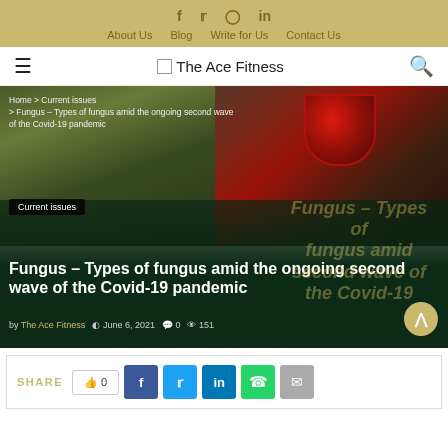f  twitter  instagram  in | About Us  Blog  Write for Us  Contact Us
The Ace Fitness
[Figure (photo): Hero image area showing mushrooms/fungus photographs with breadcrumb navigation, category badge 'Current issues', article title overlay, and author/date metadata]
Home > Current issues > Fungus – Types of fungus amid the ongoing second wave of the Covid-19 pandemic
Fungus – Types of fungus amid the ongoing second wave of the Covid-19 pandemic
by The Ace Fitness  June 6, 2021  0  151
SHARE  0  (Facebook) (Twitter) (LinkedIn) (WhatsApp) (Email)